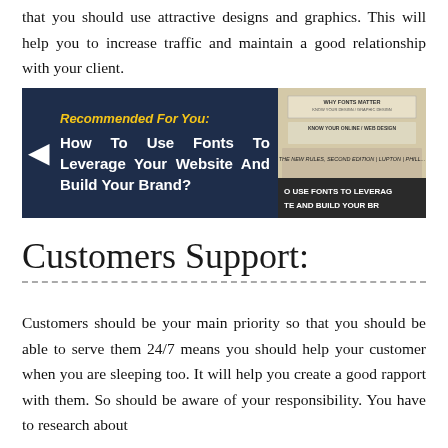that you should use attractive designs and graphics. This will help you to increase traffic and maintain a good relationship with your client.
[Figure (other): Recommended For You banner with dark navy background, yellow bold italic label 'Recommended For You:', white bold text 'How To Use Fonts To Leverage Your Website And Build Your Brand?' with left arrow icon and a book cover image on the right.]
Customers Support:
Customers should be your main priority so that you should be able to serve them 24/7 means you should help your customer when you are sleeping too. It will help you create a good rapport with them. So should be aware of your responsibility. You have to research about